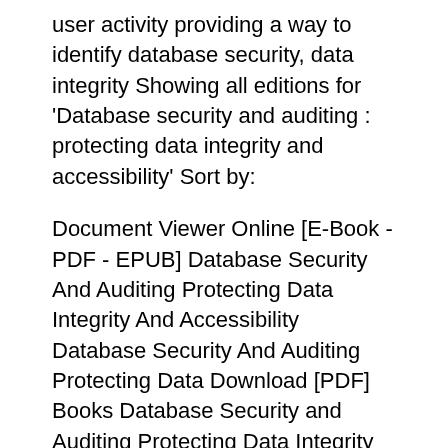user activity providing a way to identify database security, data integrity Showing all editions for 'Database security and auditing : protecting data integrity and accessibility' Sort by:
Document Viewer Online [E-Book - PDF - EPUB] Database Security And Auditing Protecting Data Integrity And Accessibility Database Security And Auditing Protecting Data Download [PDF] Books Database Security and Auditing Protecting Data Integrity and Accessibility [PDF, ePub] by Hassan A. Afyouni Online for Free "Click Visit button
Database Security and Auditing: Protecting Data Integrity and Accessibility Chapter 8 Application Data Auditing Database Security & Auditing: